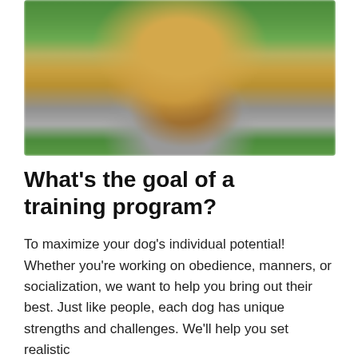[Figure (photo): A dog (golden/tan colored) walking toward the camera on a path, with blurred green foliage in the background.]
What's the goal of a training program?
To maximize your dog's individual potential! Whether you're working on obedience, manners, or socialization, we want to help you bring out their best. Just like people, each dog has unique strengths and challenges. We'll help you set realistic